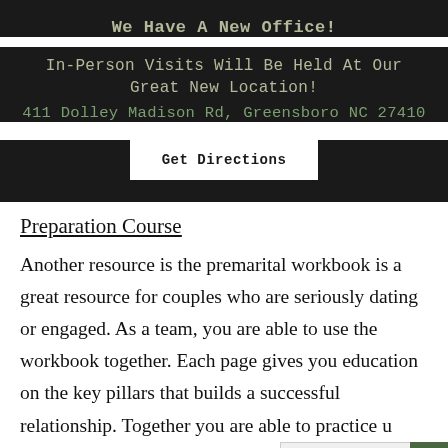We Have A New Office!
In-Person Visits Will Be Held At Our Great New Location!
411 Dolley Madison Rd, Greensboro NC 27410
Get Directions
Preparation Course
Another resource is the premarital workbook is a great resource for couples who are seriously dating or engaged. As a team, you are able to use the workbook together. Each page gives you education on the key pillars that builds a successful relationship. Together you are able to practice u…
English